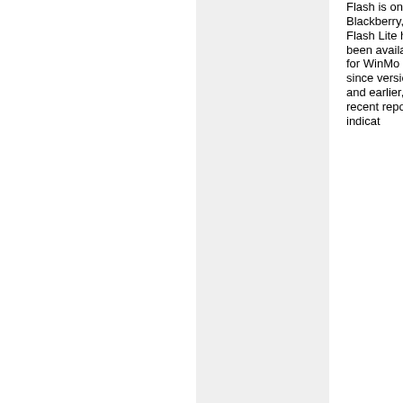Flash is on Blackberry, too. Flash Lite has been available for WinMo since version 5 and earlier, but recent reports indicat